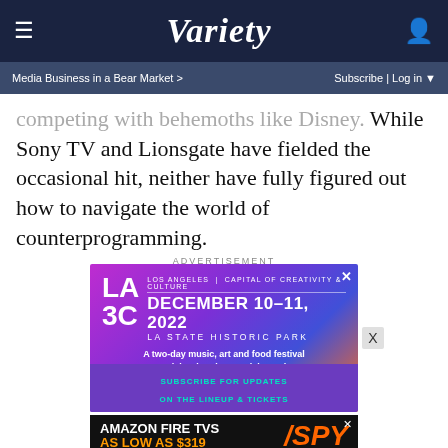VARIETY — Media Business in a Bear Market > | Subscribe | Log in
competing with behemoths like Disney. While Sony TV and Lionsgate have fielded the occasional hit, neither have fully figured out how to navigate the world of counterprogramming.
ADVERTISEMENT
[Figure (illustration): LA3C festival advertisement: Los Angeles | Capital of Creativity & Culture. December 10-11, 2022 LA State Historic Park. A two-day music, art and food festival celebrating the creativity and culture of Los Angeles. Subscribe for updates on the lineup & tickets.]
[Figure (illustration): Amazon Fire TVs advertisement: As low as $319 — SPY]